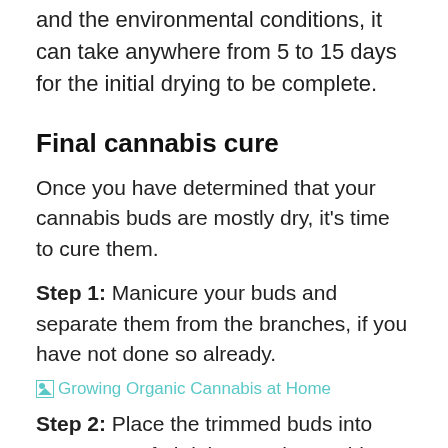from crop. Depending on the density of the flowers and the environmental conditions, it can take anywhere from 5 to 15 days for the initial drying to be complete.
Final cannabis cure
Once you have determined that your cannabis buds are mostly dry, it’s time to cure them.
Step 1: Manicure your buds and separate them from the branches, if you have not done so already.
[Figure (illustration): Broken image placeholder with link text 'Growing Organic Cannabis at Home']
Step 2: Place the trimmed buds into some type of airtight container. Wide mouth quart-size canning jars are the most commonly used container, but